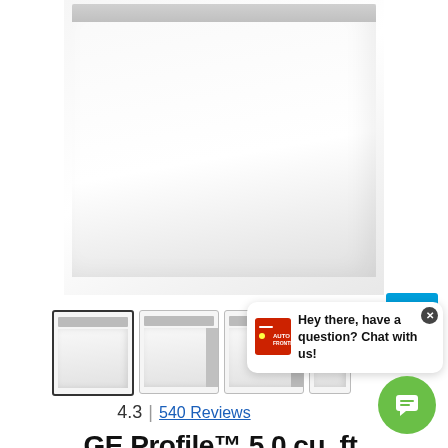[Figure (photo): White top-load washing machine (GE Profile), shown from the front/top, on a white background. The control panel is visible at the top.]
[Figure (logo): ENERGY STAR certification badge in blue]
[Figure (photo): Thumbnail strip showing 4 product images of the same white GE Profile washing machine from different angles. The first thumbnail is selected (dark border).]
Hey there, have a question? Chat with us!
4.3  |  540 Reviews
GE Profile™ 5.0 cu. ft.